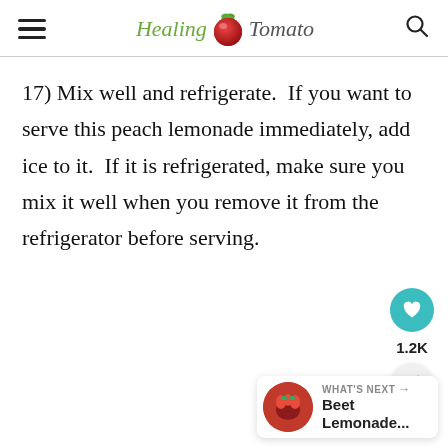Healing Tomato
17) Mix well and refrigerate.  If you want to serve this peach lemonade immediately, add ice to it.  If it is refrigerated, make sure you mix it well when you remove it from the refrigerator before serving.
[Figure (infographic): Heart/like button (teal circle with heart icon), share button, and count label 1.2K]
[Figure (infographic): What's Next panel with thumbnail image and text 'Beet Lemonade...']